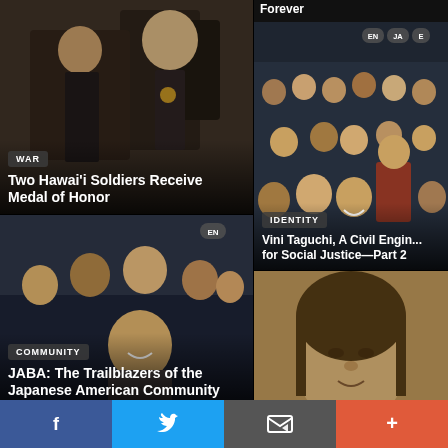[Figure (photo): Two men in formal attire, one receiving a military medal at a ceremony]
WAR
Two Hawai'i Soldiers Receive Medal of Honor
[Figure (photo): Group of people smiling at a banquet or gala event]
COMMUNITY
JABA: The Trailblazers of the Japanese American Community
[Figure (photo): Athlete celebrating at a sports event, raising hand]
EN JA ES PT
[Figure (photo): Large group photo of people at an event]
EN JA E
IDENTITY
Vini Taguchi, A Civil Engin... for Social Justice—Part 2
[Figure (photo): Sepia-toned vintage portrait of a young Asian woman]
f  (Twitter bird)  (email icon)  +